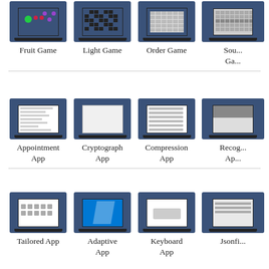[Figure (screenshot): Laptop showing Fruit Game screenshot]
Fruit Game
[Figure (screenshot): Laptop showing Light Game screenshot]
Light Game
[Figure (screenshot): Laptop showing Order Game screenshot]
Order Game
[Figure (screenshot): Laptop showing Sound Game screenshot (partially visible)]
Sou... Ga...
[Figure (screenshot): Laptop showing Appointment App screenshot]
Appointment App
[Figure (screenshot): Laptop showing Cryptograph App screenshot]
Cryptograph App
[Figure (screenshot): Laptop showing Compression App screenshot]
Compression App
[Figure (screenshot): Laptop showing Recognition App screenshot (partially visible)]
Recog... Ap...
[Figure (screenshot): Laptop showing Tailored App screenshot]
Tailored App
[Figure (screenshot): Laptop showing Adaptive App screenshot]
Adaptive App
[Figure (screenshot): Laptop showing Keyboard App screenshot]
Keyboard App
[Figure (screenshot): Laptop showing Jsonfile App screenshot (partially visible)]
Jsonfi...